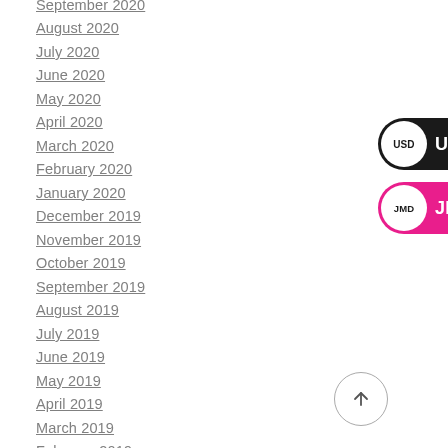September 2020
August 2020
July 2020
June 2020
May 2020
April 2020
March 2020
February 2020
January 2020
December 2019
November 2019
October 2019
September 2019
August 2019
July 2019
June 2019
May 2019
April 2019
March 2019
February 2019
January 2019
[Figure (other): USD currency selector button — dark background pill with white circle containing 'USD' text and white 'USD' label]
[Figure (other): JMD currency selector button — pink/magenta background pill with white circle containing 'JMD' text and white 'JMD' label]
[Figure (other): Scroll-to-top circular button with upward arrow icon]